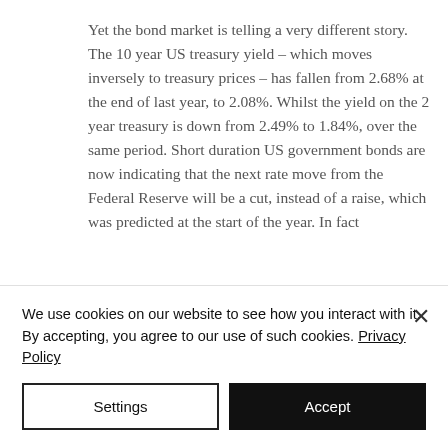Yet the bond market is telling a very different story. The 10 year US treasury yield – which moves inversely to treasury prices – has fallen from 2.68% at the end of last year, to 2.08%. Whilst the yield on the 2 year treasury is down from 2.49% to 1.84%, over the same period. Short duration US government bonds are now indicating that the next rate move from the Federal Reserve will be a cut, instead of a raise, which was predicted at the start of the year. In fact
We use cookies on our website to see how you interact with it. By accepting, you agree to our use of such cookies. Privacy Policy